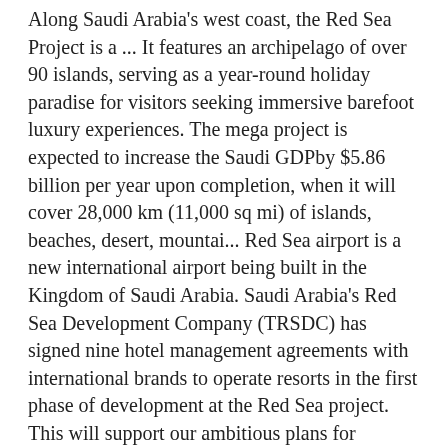Along Saudi Arabia's west coast, the Red Sea Project is a ... It features an archipelago of over 90 islands, serving as a year-round holiday paradise for visitors seeking immersive barefoot luxury experiences. The mega project is expected to increase the Saudi GDPby $5.86 billion per year upon completion, when it will cover 28,000 km (11,000 sq mi) of islands, beaches, desert, mountai... Red Sea airport is a new international airport being built in the Kingdom of Saudi Arabia. Saudi Arabia's Red Sea Development Company (TRSDC) has signed nine hotel management agreements with international brands to operate resorts in the first phase of development at the Red Sea project. This will support our ambitious plans for tourism development, generate new job opportunities for Saudi citizens, and help us to attract international and domestic tourists, meeting our target of 100 million visitors by 2030. The Red Sea Development Company (TRSDC -